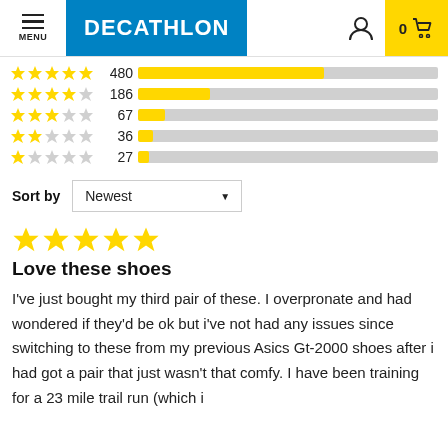DECATHLON
[Figure (bar-chart): Rating distribution]
Sort by  Newest
★★★★★
Love these shoes
I've just bought my third pair of these. I overpronate and had wondered if they'd be ok but i've not had any issues since switching to these from my previous Asics Gt-2000 shoes after i had got a pair that just wasn't that comfy. I have been training for a 23 mile trail run (which i